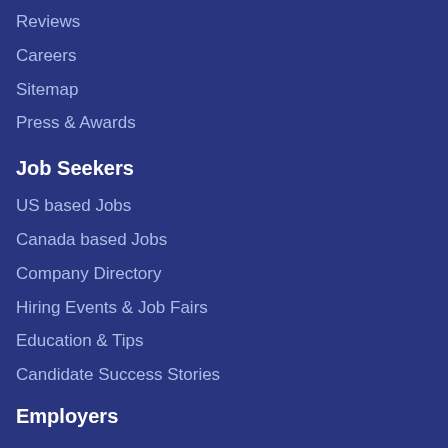Reviews
Careers
Sitemap
Press & Awards
Job Seekers
US based Jobs
Canada based Jobs
Company Directory
Hiring Events & Job Fairs
Education & Tips
Candidate Success Stories
Employers